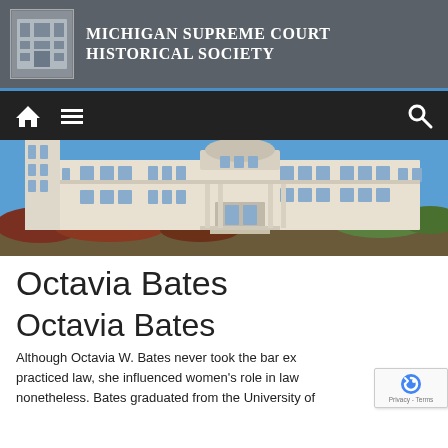Michigan Supreme Court Historical Society
[Figure (screenshot): Navigation bar with home icon, menu icon, and search icon on dark background]
[Figure (photo): Michigan Supreme Court building exterior, white stone building with columns under blue sky]
Octavia Bates
Octavia Bates
Although Octavia W. Bates never took the bar ex... practiced law, she influenced women's role in law... nonetheless. Bates graduated from the University of...